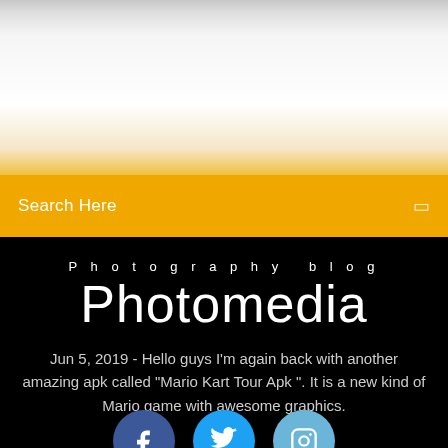[Figure (photo): Top image area showing a partial website screenshot with white/light background fading into yellow/orange gradient]
Search Here
Photography blog
Photomedia
Jun 5, 2019 - Hello guys I'm again back with another amazing apk called "Mario Kart Tour Apk ". It is a new kind of Mario game with awesome graphics.
[Figure (infographic): Three social media icons: Facebook (dark blue circle with f), Twitter (blue circle with bird), Instagram (light blue circle with camera)]